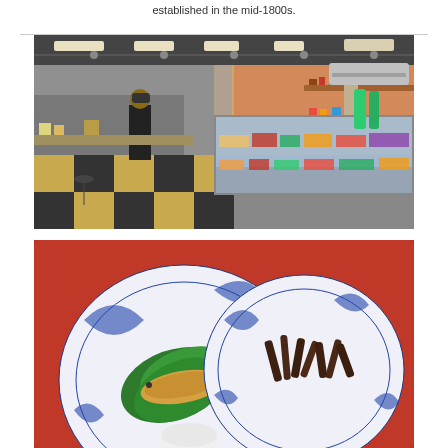established in the mid-1800s.
[Figure (photo): Interior of a Japanese food market/deli with checkered floor, display cases filled with prepared foods and fresh fish, shelves with products, and staff working behind the counter.]
[Figure (photo): Two blue and white ceramic plates on a red tray containing Japanese food: one plate with a grilled or dried fish on green leaves, another plate with dark cooked vegetables.]